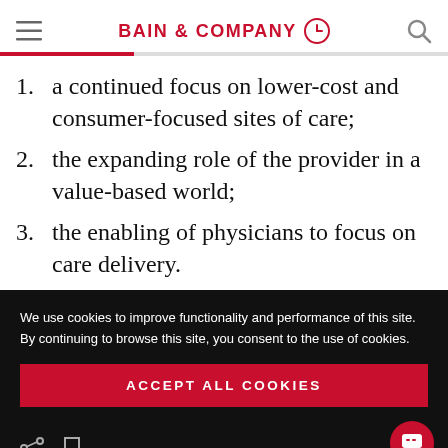BAIN & COMPANY
a continued focus on lower-cost and consumer-focused sites of care;
the expanding role of the provider in a value-based world;
the enabling of physicians to focus on care delivery.
We use cookies to improve functionality and performance of this site. By continuing to browse this site, you consent to the use of cookies.
ACCEPT ALL COOKIES